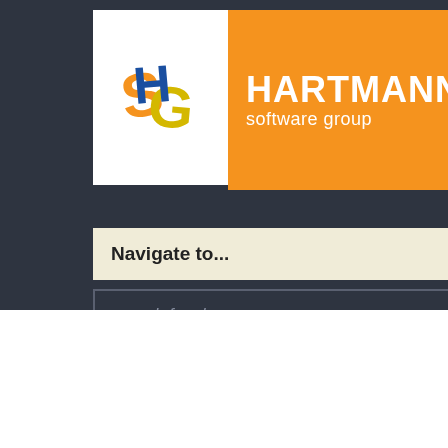[Figure (logo): Hartmann Software Group logo with stylized S-G letters in blue, orange, and yellow, alongside orange banner with HARTMANN software group text in white]
Navigate to...
search for classes
Home → Training → Perl Programming → Blaine, Minnesota